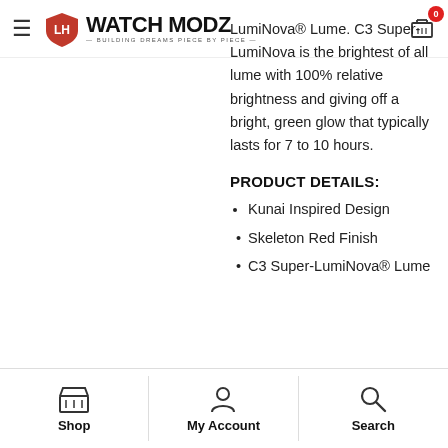Watch Modz — Building Dreams Piece By Piece
LumiNova® Lume. C3 Super-LumiNova is the brightest of all lume with 100% relative brightness and giving off a bright, green glow that typically lasts for 7 to 10 hours.
PRODUCT DETAILS:
Kunai Inspired Design
Skeleton Red Finish
C3 Super-LumiNova® Lume
Shop | My Account | Search